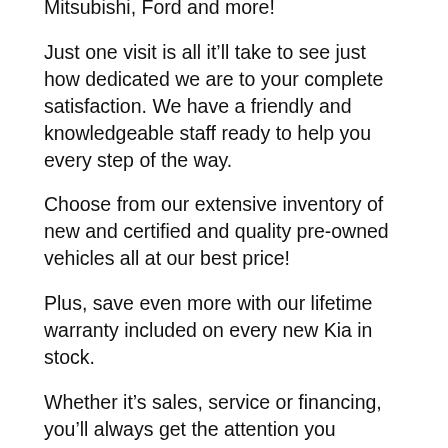Mitsubishi, Ford and more!
Just one visit is all it’ll take to see just how dedicated we are to your complete satisfaction. We have a friendly and knowledgeable staff ready to help you every step of the way.
Choose from our extensive inventory of new and certified and quality pre-owned vehicles all at our best price!
Plus, save even more with our lifetime warranty included on every new Kia in stock.
Whether it’s sales, service or financing, you’ll always get the attention you deserve from Kia of Columbia.
Come in today and see just how much you